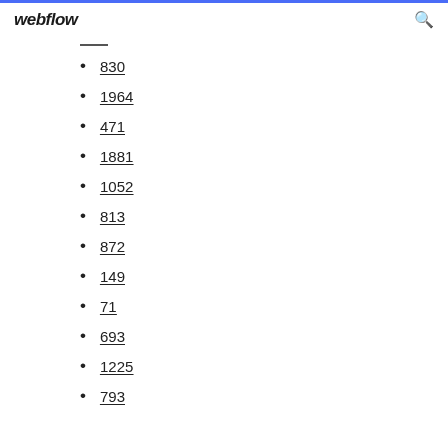webflow
830
1964
471
1881
1052
813
872
149
71
693
1225
793